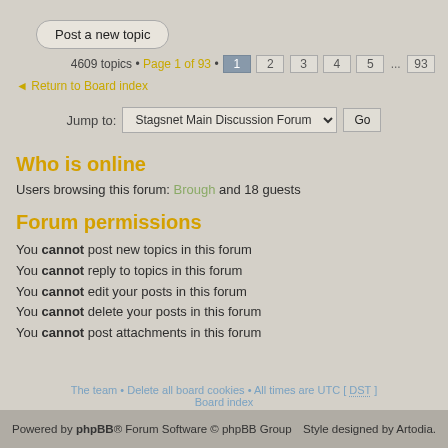Post a new topic
4609 topics • Page 1 of 93 • 1 2 3 4 5 ... 93
Return to Board index
Jump to:  Stagsnet Main Discussion Forum  Go
Who is online
Users browsing this forum: Brough and 18 guests
Forum permissions
You cannot post new topics in this forum
You cannot reply to topics in this forum
You cannot edit your posts in this forum
You cannot delete your posts in this forum
You cannot post attachments in this forum
The team • Delete all board cookies • All times are UTC [ DST ] Board index
Powered by phpBB® Forum Software © phpBB Group  Style designed by Artodia.